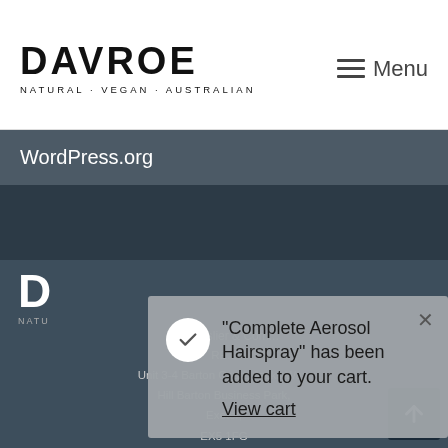DAVROE
NATURAL · VEGAN · AUSTRALIAN
Menu
WordPress.org
[Figure (screenshot): Davroe website footer with notification modal. Modal says: "Complete Aerosol Hairspray" has been added to your cart. View cart]
D
NATU
© Dresslier & Com...
Unit 3-4 Barton Court, Jacks Way,
Hill Barton Business Park,
Exeter,
EX5 1FG
Company No. 6831515,
VAT No. 946 7201 13